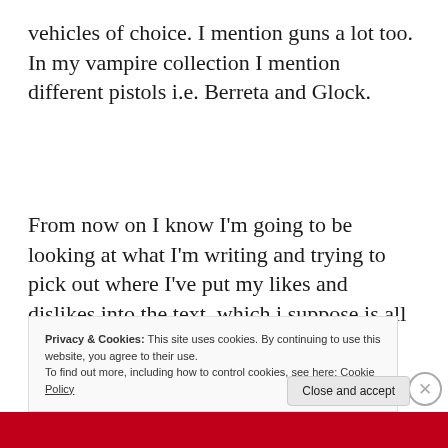vehicles of choice. I mention guns a lot too. In my vampire collection I mention different pistols i.e. Berreta and Glock.
From now on I know I'm going to be looking at what I'm writing and trying to pick out where I've put my likes and dislikes into the text, which i suppose is all part of being a writer. We
Privacy & Cookies: This site uses cookies. By continuing to use this website, you agree to their use.
To find out more, including how to control cookies, see here: Cookie Policy
Close and accept